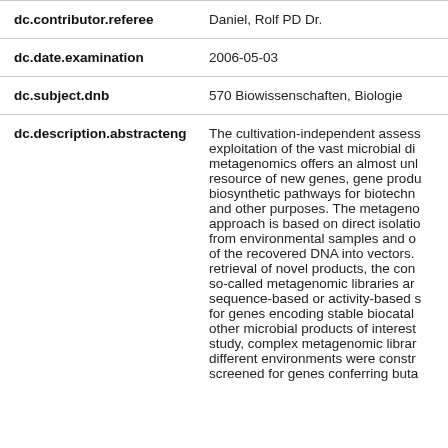| Field | Value |
| --- | --- |
| dc.contributor.referee | Daniel, Rolf PD Dr. |
| dc.date.examination | 2006-05-03 |
| dc.subject.dnb | 570 Biowissenschaften, Biologie |
| dc.description.abstracteng | The cultivation-independent assess exploitation of the vast microbial di metagenomics offers an almost unl resource of new genes, gene produ biosynthetic pathways for biotechn and other purposes. The metageno approach is based on direct isolatio from environmental samples and o of the recovered DNA into vectors. retrieval of novel products, the con so-called metagenomic libraries ar sequence-based or activity-based s for genes encoding stable biocatal other microbial products of interest study, complex metagenomic librar different environments were constr screened for genes conferring buta |